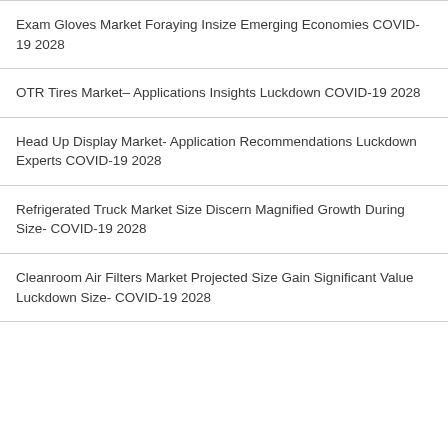Exam Gloves Market Foraying Insize Emerging Economies COVID-19 2028
OTR Tires Market– Applications Insights Luckdown COVID-19 2028
Head Up Display Market- Application Recommendations Luckdown Experts COVID-19 2028
Refrigerated Truck Market Size Discern Magnified Growth During Size- COVID-19 2028
Cleanroom Air Filters Market Projected Size Gain Significant Value Luckdown Size- COVID-19 2028